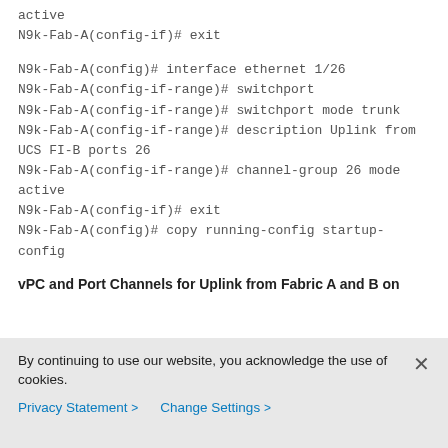active
N9k-Fab-A(config-if)# exit
N9k-Fab-A(config)# interface ethernet 1/26
N9k-Fab-A(config-if-range)# switchport
N9k-Fab-A(config-if-range)# switchport mode trunk
N9k-Fab-A(config-if-range)# description Uplink from UCS FI-B ports 26
N9k-Fab-A(config-if-range)# channel-group 26 mode active
N9k-Fab-A(config-if)# exit
N9k-Fab-A(config)# copy running-config startup-config
vPC and Port Channels for Uplink from Fabric A and B on
By continuing to use our website, you acknowledge the use of cookies.
Privacy Statement >   Change Settings >